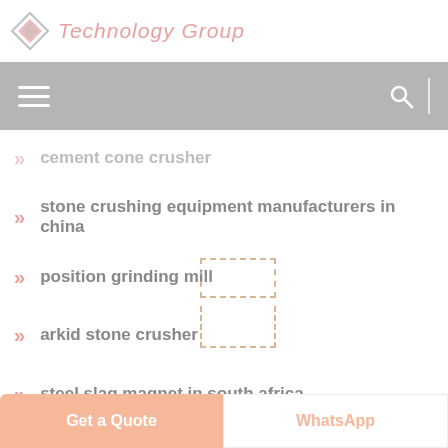Technology Group
cement cone crusher
stone crushing equipment manufacturers in china
position grinding mill
arkid stone crusher
steel slag magnet in south africa
jaw crusher flexible
images of quarry of pakistan